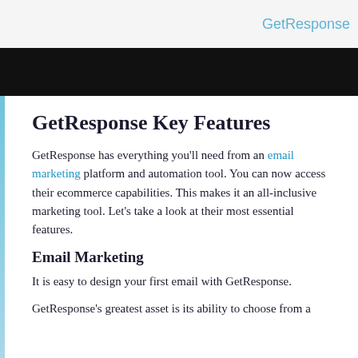[Figure (screenshot): Top portion showing GetResponse interface screenshot with orange/peach graphic element, white speech bubble, and GetResponse logo text in blue on light background, with a black bar beneath]
GetResponse Key Features
GetResponse has everything you'll need from an email marketing platform and automation tool. You can now access their ecommerce capabilities. This makes it an all-inclusive marketing tool. Let's take a look at their most essential features.
Email Marketing
It is easy to design your first email with GetResponse.
GetResponse's greatest asset is its ability to choose from a